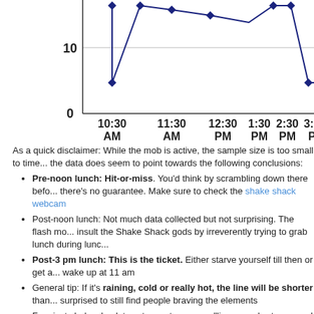[Figure (continuous-plot): Line chart showing wait times at Shake Shack across different times of day (10:30 AM to ~3:30 PM), with diamond-shaped data points plotted on a line. Y-axis shows values 0 and 10. X-axis labels: 10:30 AM, 11:30 AM, 12:30 PM, 1:30 PM, 2:30 PM, 3:30 PM.]
As a quick disclaimer: While the mob is active, the sample size is too small to time... the data does seem to point towards the following conclusions:
Pre-noon lunch: Hit-or-miss. You'd think by scrambling down there befo... there's no guarantee. Make sure to check the shake shack webcam
Post-noon lunch: Not much data collected but not surprising. The flash mo... insult the Shake Shack gods by irreverently trying to grab lunch during lunc...
Post-3 pm lunch: This is the ticket. Either starve yourself till then or get a... wake up at 11 am
General tip: If it's raining, cold or really hot, the line will be shorter than... surprised to still find people braving the elements
Funniest shake shack tweet goes to ceonyc: "line very short....swarm! Sw...
Who's graciously tweeting away line lengths?
whitneymcn – Whitney McNamara, wrote the perl code that makes the Sh... work